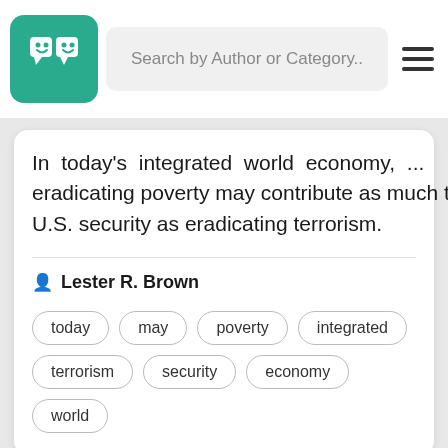Search by Author or Category..
In today's integrated world economy, ... eradicating poverty may contribute as much to U.S. security as eradicating terrorism.
Lester R. Brown
today
may
poverty
integrated
terrorism
security
economy
world